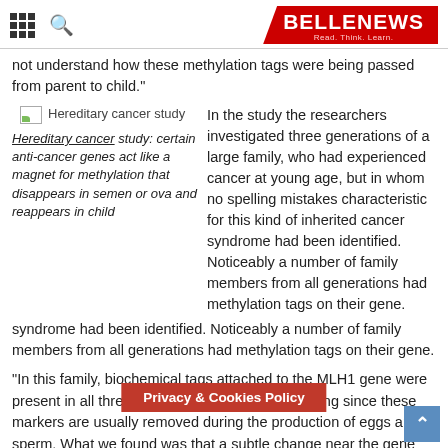BELLENEWS — Read. Think. Learn.
not understand how these methylation tags were being passed from parent to child."
[Figure (photo): Hereditary cancer study image placeholder with green icon]
Hereditary cancer study: certain anti-cancer genes act like a magnet for methylation that disappears in semen or ova and reappears in child
In the study the researchers investigated three generations of a large family, who had experienced cancer at young age, but in whom no spelling mistakes characteristic for this kind of inherited cancer syndrome had been identified. Noticeably a number of family members from all generations had methylation tags on their gene.
“In this family, biochemical tags attached to the MLH1 gene were present in all three generations. This was intriguing since these markers are usually removed during the production of eggs and sperm. What we found was that a subtle change near the gene was acting like a magnet to attract methylation. So it was not the methylation itself that was bei… child, but the DNA change near th… Dr M